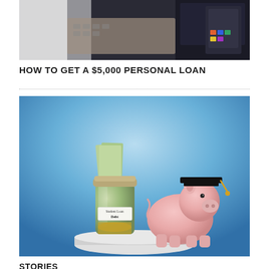[Figure (photo): Close-up photo of a laptop keyboard and desk with dark background, showing technology/finance work environment]
HOW TO GET A $5,000 PERSONAL LOAN
[Figure (photo): Photo of a glass jar labeled 'Student Loan Debt' filled with coins and cash, next to a pink piggy bank wearing a graduation cap, both sitting on a white pedestal against a blue background]
STORIES